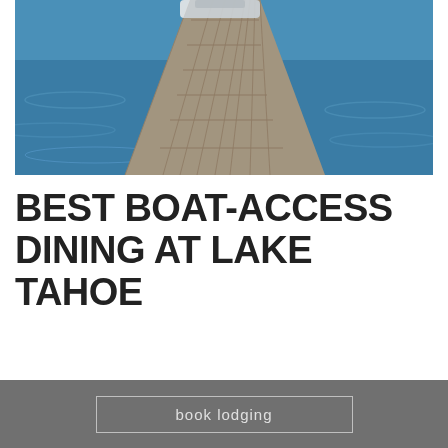[Figure (photo): A wooden dock extending over blue water at Lake Tahoe, with a boat moored at the far end]
BEST BOAT-ACCESS DINING AT LAKE TAHOE
DATE: JUNE 14, 2018
AUTHOR: ANDRIA GUTIERREZ
CATEGORY: NEWS, RECENT NEWS, UNCATEGORIZED
book lodging